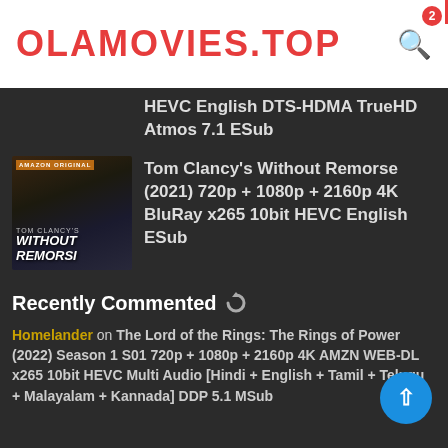OLAMOVIES.TOP
HEVC English DTS-HDMA TrueHD Atmos 7.1 ESub
[Figure (photo): Thumbnail for Tom Clancy's Without Remorse, Amazon Original movie poster]
Tom Clancy's Without Remorse (2021) 720p + 1080p + 2160p 4K BluRay x265 10bit HEVC English ESub
Recently Commented
Homelander on The Lord of the Rings: The Rings of Power (2022) Season 1 S01 720p + 1080p + 2160p 4K AMZN WEB-DL x265 10bit HEVC Multi Audio [Hindi + English + Tamil + Telugu + Malayalam + Kannada] DDP 5.1 MSub